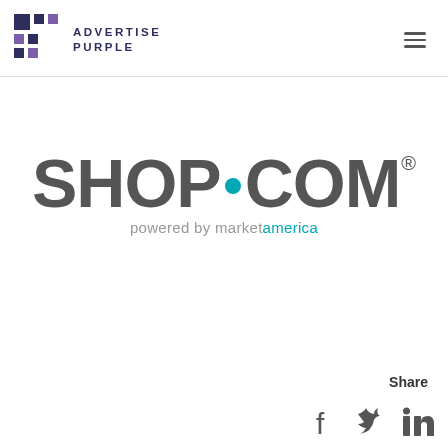[Figure (logo): Advertise Purple logo with grid icon and text 'ADVERTISE PURPLE']
[Figure (logo): SHOP.COM powered by market america logo — large grey text with teal dot separator and tagline]
Share
[Figure (logo): Social media share icons: Facebook, Twitter, LinkedIn]